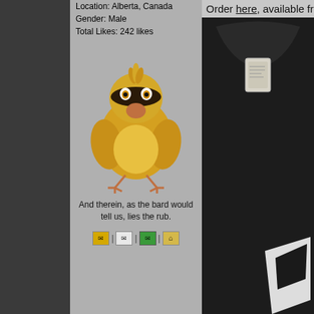Location: Alberta, Canada
Gender: Male
Total Likes: 242 likes
[Figure (illustration): Pidgey Pokemon character illustration - yellow/brown bird pokemon with angry expression]
And therein, as the bard would tell us, lies the rub.
[Figure (photo): Close-up photo of a black t-shirt with white logo, showing collar and tag area]
Order here, available from S to XL.